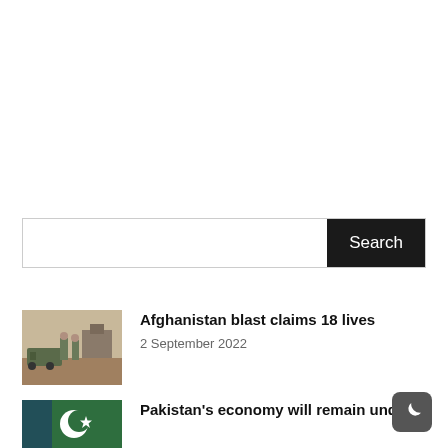Search bar
[Figure (photo): Photo of soldiers standing near military vehicles in Afghanistan]
Afghanistan blast claims 18 lives
2 September 2022
[Figure (photo): Map or flag image related to Pakistan economy article]
Pakistan's economy will remain under